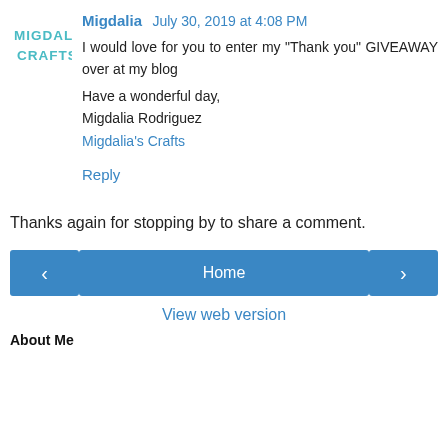[Figure (logo): Migdalia Crafts logo — teal/blue text reading MIGDALIA over CRAFTS in a stacked blocky font]
Migdalia  July 30, 2019 at 4:08 PM
I would love for you to enter my "Thank you" GIVEAWAY over at my blog
Have a wonderful day,
Migdalia Rodriguez
Migdalia's Crafts
Reply
Thanks again for stopping by to share a comment.
‹   Home   ›
View web version
About Me